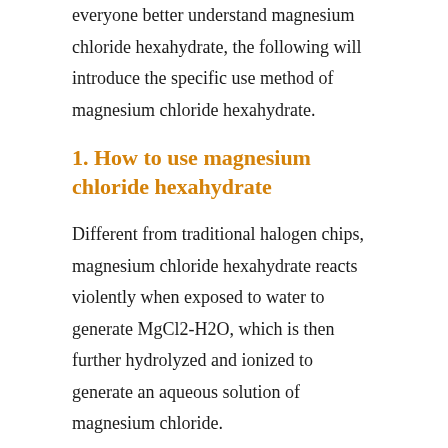everyone better understand magnesium chloride hexahydrate, the following will introduce the specific use method of magnesium chloride hexahydrate.
1. How to use magnesium chloride hexahydrate
Different from traditional halogen chips, magnesium chloride hexahydrate reacts violently when exposed to water to generate MgCl2-H2O, which is then further hydrolyzed and ionized to generate an aqueous solution of magnesium chloride.
When blending the marinade, water should be added first, and then magnesium chloride hexahydrate, and should be gradually blended in, but with constant stirring. Th...